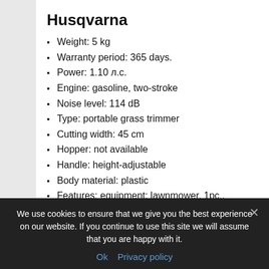Husqvarna
Weight: 5 kg
Warranty period: 365 days.
Power: 1.10 л.с.
Engine: gasoline, two-stroke
Noise level: 114 dB
Type: portable grass trimmer
Cutting width: 45 cm
Hopper: not available
Handle: height-adjustable
Body material: plastic
Features: equipment: lawnmower. 1pc.,
We use cookies to ensure that we give you the best experience on our website. If you continue to use this site we will assume that you are happy with it.
Ok  Privacy policy